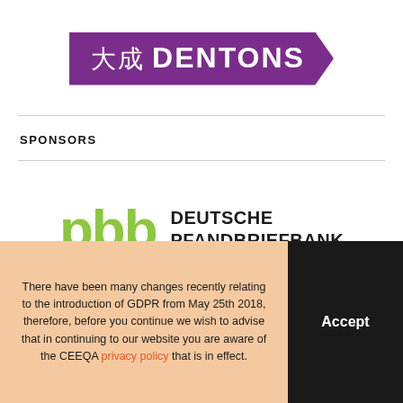[Figure (logo): Dentons law firm logo — purple arrow-shaped banner with Chinese characters 大成 and the word DENTONS in white bold text]
SPONSORS
[Figure (logo): pbb Deutsche Pfandbriefbank logo — green lowercase 'pbb' letters followed by 'DEUTSCHE PFANDBRIEFBANK' in bold black text]
There have been many changes recently relating to the introduction of GDPR from May 25th 2018, therefore, before you continue we wish to advise that in continuing to our website you are aware of the CEEQA privacy policy that is in effect.
Accept